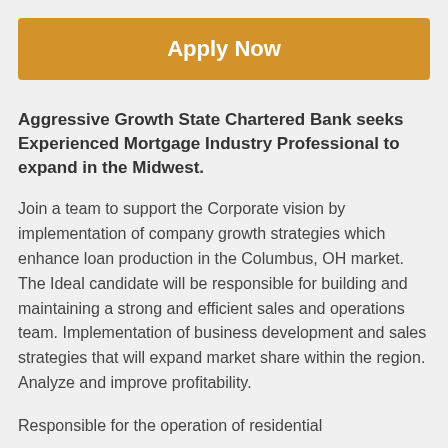Apply Now
Aggressive Growth State Chartered Bank seeks Experienced Mortgage Industry Professional to expand in the Midwest.
Join a team to support the Corporate vision by implementation of company growth strategies which enhance loan production in the Columbus, OH market. The Ideal candidate will be responsible for building and maintaining a strong and efficient sales and operations team. Implementation of business development and sales strategies that will expand market share within the region. Analyze and improve profitability.
Responsible for the operation of residential